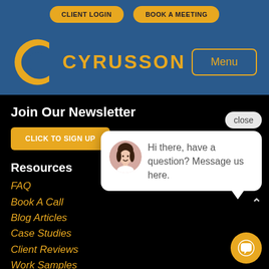CLIENT LOGIN   BOOK A MEETING
[Figure (logo): Cyrusson logo with golden C arc and blue C arc, text CYRUSSON in gold]
Menu
Join Our Newsletter
CLICK TO SIGN UP
Resources
FAQ
Book A Call
Blog Articles
Case Studies
Client Reviews
Work Samples
The Cyrusson System
[Figure (screenshot): Chat popup with close button, avatar photo of woman, and text: Hi there, have a question? Message us here.]
close
Hi there, have a question? Message us here.